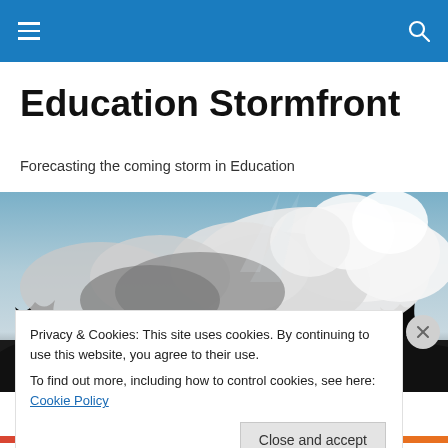Navigation bar with menu and search icons
Education Stormfront
Forecasting the coming storm in Education
[Figure (photo): Dramatic stormy sky with large cumulus clouds over a dark landscape silhouette with trees]
Privacy & Cookies: This site uses cookies. By continuing to use this website, you agree to their use.
To find out more, including how to control cookies, see here: Cookie Policy
Close and accept